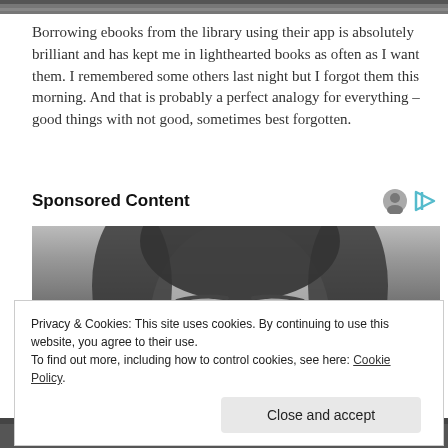[Figure (photo): Partial photo strip at top, black and white, cropped at top of page]
Borrowing ebooks from the library using their app is absolutely brilliant and has kept me in lighthearted books as often as I want them. I remembered some others last night but I forgot them this morning. And that is probably a perfect analogy for everything – good things with not good, sometimes best forgotten.
Sponsored Content
[Figure (photo): Black and white close-up photo of a person with round glasses, eyes visible above glasses frame, dark hair]
Privacy & Cookies: This site uses cookies. By continuing to use this website, you agree to their use.
To find out more, including how to control cookies, see here: Cookie Policy
Close and accept